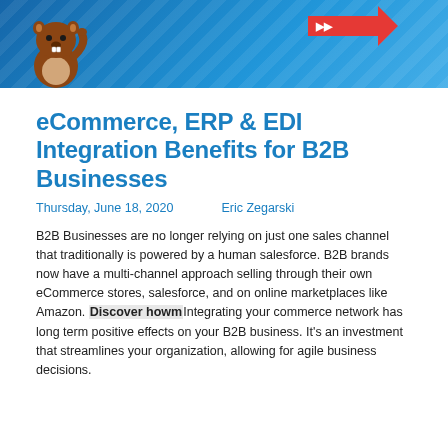[Figure (illustration): Banner with blue diagonal-stripe background, a cartoon beaver mascot on the left, and a red arrow/rocket graphic on the right]
eCommerce, ERP & EDI Integration Benefits for B2B Businesses
Thursday, June 18, 2020     Eric Zegarski
B2B Businesses are no longer relying on just one sales channel that traditionally is powered by a human salesforce. B2B brands now have a multi-channel approach selling through their own eCommerce stores, salesforce, and on online marketplaces like Amazon. Discover howmIntegrating your commerce network has long term positive effects on your B2B business. It's an investment that streamlines your organization, allowing for agile business decisions.